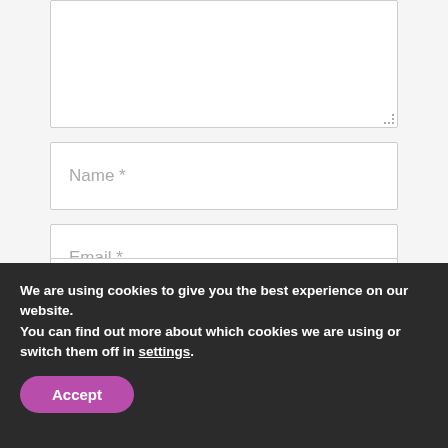[Figure (screenshot): A textarea form field (white box with resize handle at bottom right)]
Name *
Email *
Save my name, email, and website in this browser for the next time I comment.
We are using cookies to give you the best experience on our website.
You can find out more about which cookies we are using or switch them off in settings.
Accept